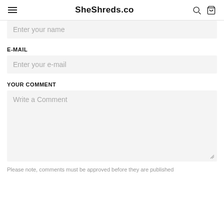SheShreds.co
Enter your name
E-MAIL
Enter your e-mail
YOUR COMMENT
Write a Comment
Please note, comments must be approved before they are published